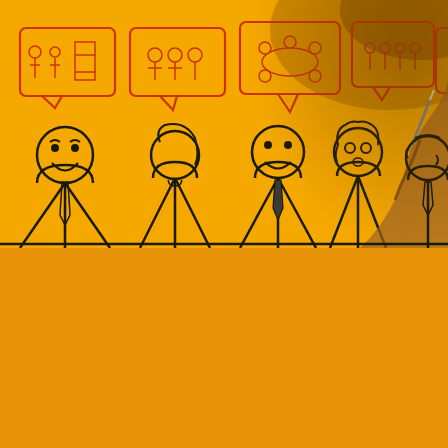[Figure (illustration): A yellow/orange background photograph showing hand-drawn cartoon figures of five business people in a row, each with a speech bubble above them containing small sketched scenes. A real human hand holding a marker/pen is visible drawing the rightmost figure, creating a whiteboard animation effect.]
WE ARE A TEAM
We come from different areas – Human Resources, Finance, Healthcare, Engineering, Beauty, Retail, Manufacturing and Services –, and we add and share our expertise, working in a collaborative, inclusive, and